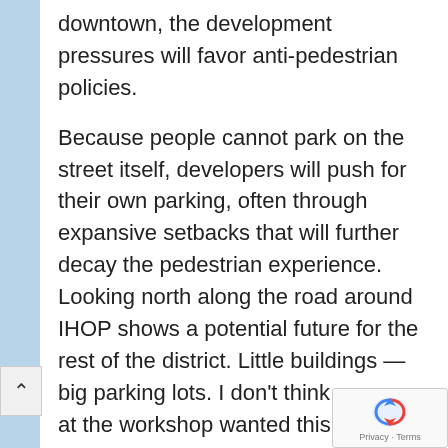downtown, the development pressures will favor anti-pedestrian policies.

Because people cannot park on the street itself, developers will push for their own parking, often through expansive setbacks that will further decay the pedestrian experience. Looking north along the road around IHOP shows a potential future for the rest of the district. Little buildings — big parking lots. I don't think anyone at the workshop wanted this. If the Borough does not have design standards that prevent it, I don't know what will stop it, especially when tax receipts are involved.
Transportation